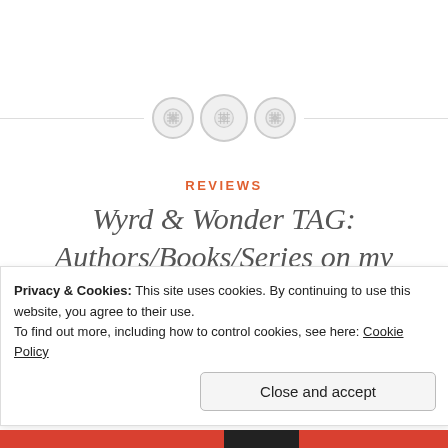[Figure (illustration): Decorative horizontal divider with three button icons (crosshatch/stitching pattern circles) centered on a thin horizontal line]
REVIEWS
Wyrd & Wonder TAG: Authors/Books/Series on my TBR that I have to read yet – #Wyrdandwonder
Privacy & Cookies: This site uses cookies. By continuing to use this website, you agree to their use.
To find out more, including how to control cookies, see here: Cookie Policy